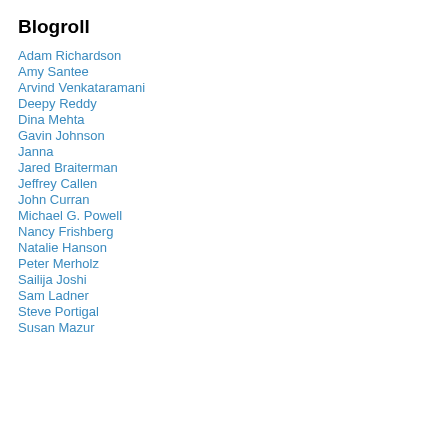Blogroll
Adam Richardson
Amy Santee
Arvind Venkataramani
Deepy Reddy
Dina Mehta
Gavin Johnson
Janna
Jared Braiterman
Jeffrey Callen
John Curran
Michael G. Powell
Nancy Frishberg
Natalie Hanson
Peter Merholz
Sailija Joshi
Sam Ladner
Steve Portigal
Susan Mazur